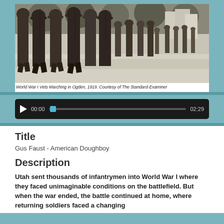[Figure (photo): Black and white photograph of World War I veterans marching in formation in Ogden, 1919. Soldiers wearing military uniforms and wide-brimmed hats march down a street lined with trees.]
World War I Vets Marching in Ogden, 1919. Courtesy of The Standard-Examiner
[Figure (screenshot): Audio player interface with play button, time display showing 00:00 and 02:29, and a progress bar with a cyan/blue thumb indicator.]
Title
Gus Faust - American Doughboy
Description
Utah sent thousands of infantrymen into World War I where they faced unimaginable conditions on the battlefield. But when the war ended, the battle continued at home, where returning soldiers faced a changing...